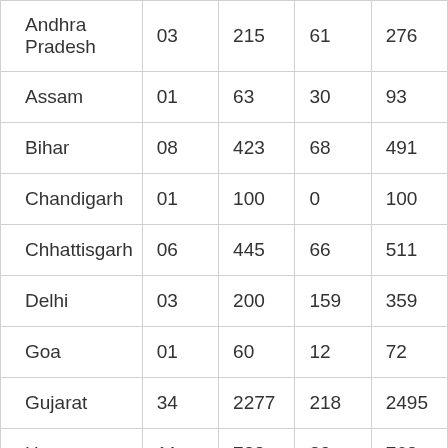| Andhra Pradesh | 03 | 215 | 61 | 276 |
| Assam | 01 | 63 | 30 | 93 |
| Bihar | 08 | 423 | 68 | 491 |
| Chandigarh | 01 | 100 | 0 | 100 |
| Chhattisgarh | 06 | 445 | 66 | 511 |
| Delhi | 03 | 200 | 159 | 359 |
| Goa | 01 | 60 | 12 | 72 |
| Gujarat | 34 | 2277 | 218 | 2495 |
| Haryana | 11 | 738 | 30 | 768 |